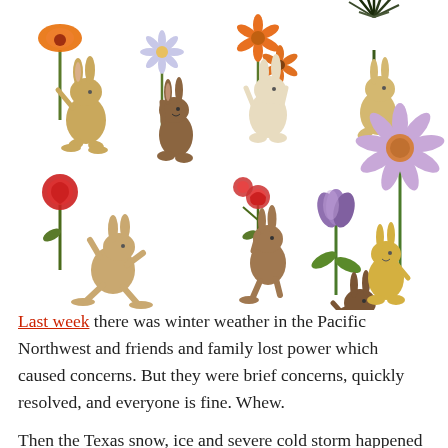[Figure (illustration): Watercolor illustration of multiple rabbits/hares in various poses, each holding or standing near different flowers: orange poppy, purple daisy, orange sunflowers, a dark spiky plant, a red rose, red carnations, a purple tulip, and a large purple daisy. The rabbits are tan, brown, and golden in color.]
Last week there was winter weather in the Pacific Northwest and friends and family lost power which caused concerns. But they were brief concerns, quickly resolved, and everyone is fine. Whew.
Then the Texas snow, ice and severe cold storm happened and was not quickly resolved (still isn't as of